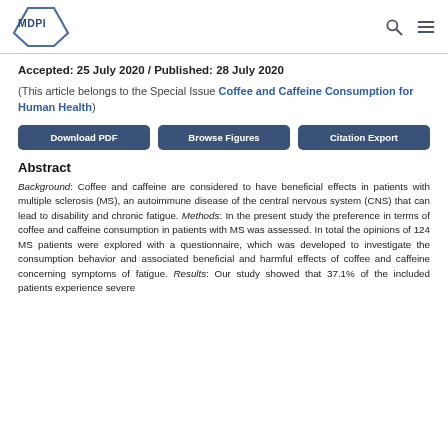MDPI
Accepted: 25 July 2020 / Published: 28 July 2020
(This article belongs to the Special Issue Coffee and Caffeine Consumption for Human Health)
Download PDF | Browse Figures | Citation Export
Abstract
Background: Coffee and caffeine are considered to have beneficial effects in patients with multiple sclerosis (MS), an autoimmune disease of the central nervous system (CNS) that can lead to disability and chronic fatigue. Methods: In the present study the preference in terms of coffee and caffeine consumption in patients with MS was assessed. In total the opinions of 124 MS patients were explored with a questionnaire, which was developed to investigate the consumption behavior and associated beneficial and harmful effects of coffee and caffeine concerning symptoms of fatigue. Results: Our study showed that 37.1% of the included patients experience severe